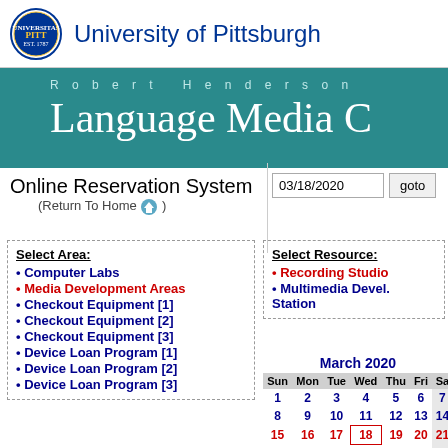University of Pittsburgh
Robert Henderson Language Media C
Online Reservation System (Return To Home)
03/18/2020 goto
Select Area: • Computer Labs • Media Development Areas • Checkout Equipment [1] • Checkout Equipment [2] • Checkout Equipment [3] • Device Loan Program [1] • Device Loan Program [2] • Device Loan Program [3]
Select Resource: • Recording Studio • Multimedia Devel. Station
[Figure (other): March 2020 calendar showing dates 1-31, with 15-21 in red for the current week, and date 18 highlighted with a red border box]